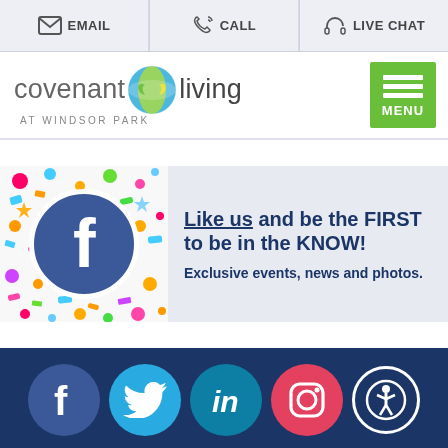EMAIL | CALL | LIVE CHAT
[Figure (logo): Covenant Living at Windsor Park logo with green globe icon and green MENU button]
[Figure (infographic): Facebook promotional banner: colorful confetti background with Facebook 'f' circle icon on left; text on right reads 'Like us and be the FIRST to be in the KNOW! Exclusive events, news and photos.']
[Figure (infographic): Social media icons row on dark blue background: Facebook, Twitter, LinkedIn, Instagram, Accessibility icon]